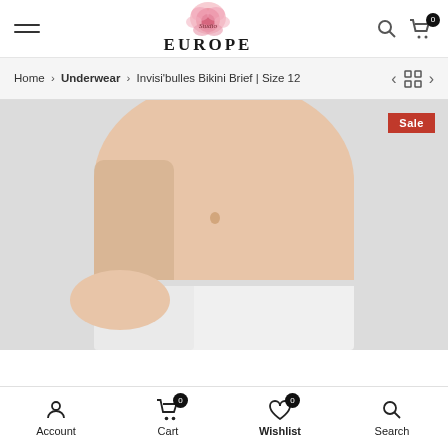Studio EUROPE — site header with hamburger menu, logo, search and cart icons
Home > Underwear > Invisi'bulles Bikini Brief | Size 12
[Figure (photo): Close-up photo of a woman's torso wearing white seamless bikini briefs against a light grey background. A red 'Sale' badge is in the top-right corner of the image.]
Account   Cart 0   Wishlist 0   Search